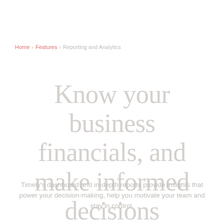Home > Features > Reporting and Analytics
Know your business financials, and make informed decisions
Timely's dashboard and in-depth reports provide insights that power your decision-making, help you motivate your team and stay in control.